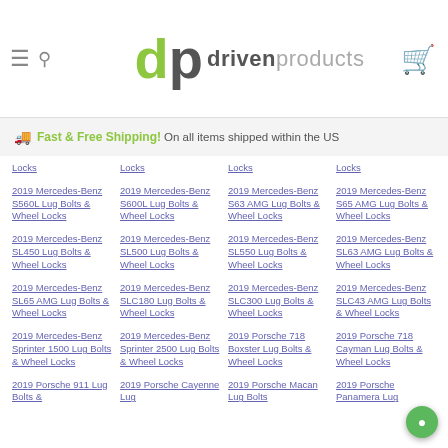drivenproducts - navigation header with hamburger menu, search, logo, and cart
Fast & Free Shipping! On all items shipped within the US
Locks
Locks
Locks
Locks
2019 Mercedes-Benz S560L Lug Bolts & Wheel Locks
2019 Mercedes-Benz S600L Lug Bolts & Wheel Locks
2019 Mercedes-Benz S63 AMG Lug Bolts & Wheel Locks
2019 Mercedes-Benz S65 AMG Lug Bolts & Wheel Locks
2019 Mercedes-Benz SL450 Lug Bolts & Wheel Locks
2019 Mercedes-Benz SL500 Lug Bolts & Wheel Locks
2019 Mercedes-Benz SL550 Lug Bolts & Wheel Locks
2019 Mercedes-Benz SL63 AMG Lug Bolts & Wheel Locks
2019 Mercedes-Benz SL65 AMG Lug Bolts & Wheel Locks
2019 Mercedes-Benz SLC180 Lug Bolts & Wheel Locks
2019 Mercedes-Benz SLC300 Lug Bolts & Wheel Locks
2019 Mercedes-Benz SLC43 AMG Lug Bolts & Wheel Locks
2019 Mercedes-Benz Sprinter 1500 Lug Bolts & Wheel Locks
2019 Mercedes-Benz Sprinter 2500 Lug Bolts & Wheel Locks
2019 Porsche 718 Boxster Lug Bolts & Wheel Locks
2019 Porsche 718 Cayman Lug Bolts & Wheel Locks
2019 Porsche 911 Lug Bolts &
2019 Porsche Cayenne Lug
2019 Porsche Macan Lug Bolts
2019 Porsche Panamera Lug